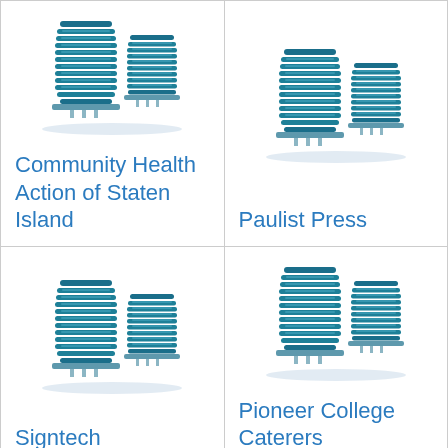[Figure (logo): Blue multi-storey building icon representing Community Health Action of Staten Island]
Community Health Action of Staten Island
[Figure (logo): Blue multi-storey building icon representing Paulist Press]
Paulist Press
[Figure (logo): Blue multi-storey building icon representing Signtech]
Signtech
[Figure (logo): Blue multi-storey building icon representing Pioneer College Caterers]
Pioneer College Caterers